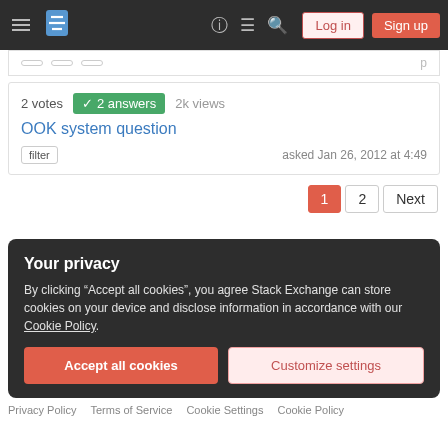Stack Exchange navigation bar with hamburger menu, logo, help, chat, search, Log in, Sign up
2 votes  2 answers  2k views
OOK system question
filter  asked Jan 26, 2012 at 4:49
1  2  Next
Your privacy
By clicking "Accept all cookies", you agree Stack Exchange can store cookies on your device and disclose information in accordance with our Cookie Policy.
Accept all cookies  Customize settings